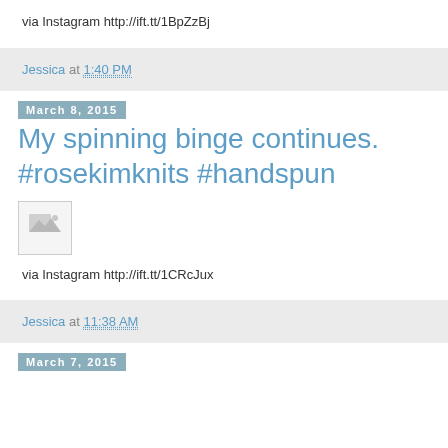via Instagram http://ift.tt/1BpZzBj
Jessica at 1:40 PM
March 8, 2015
My spinning binge continues. #rosekimknits #handspun
[Figure (photo): Broken/missing image thumbnail]
via Instagram http://ift.tt/1CRcJux
Jessica at 11:38 AM
March 7, 2015